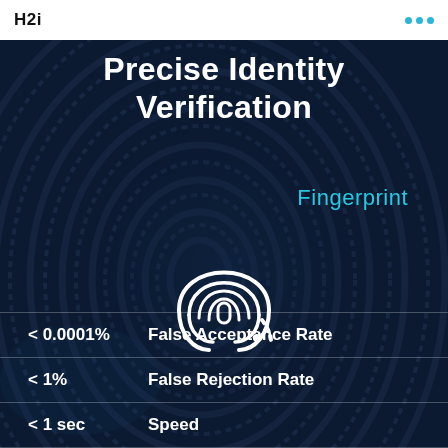H2i
Precise Identity Verification
Fingerprint
[Figure (illustration): Fingerprint icon — concentric oval loops forming a fingerprint pattern, white outline on dark blue background]
< 0.0001%   False Acceptance Rate
< 1%   False Rejection Rate
< 1 sec   Speed